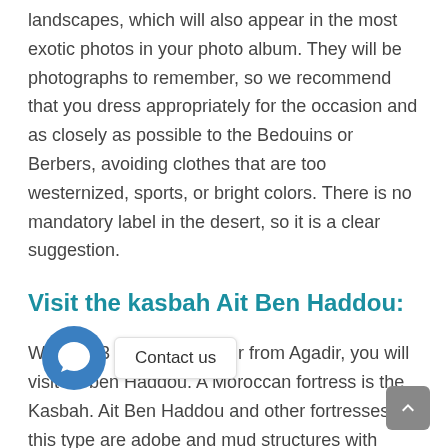landscapes, which will also appear in the most exotic photos in your photo album. They will be photographs to remember, so we recommend that you dress appropriately for the occasion and as closely as possible to the Bedouins or Berbers, avoiding clothes that are too westernized, sports, or bright colors. There is no mandatory label in the desert, so it is a clear suggestion.
Visit the kasbah Ait Ben Haddou:
With our 3 days desert tour from Agadir, you will visit Ait ben Haddou. A Moroccan fortress is the Kasbah. Ait Ben Haddou and other fortresses of this type are adobe and mud structures with defensive towers in the style of medieval castles.
These kasbahs were once large Berber settlements in the M d built to protect the homes, crops, and palm groves that grew along their rivers. These peoples established large agrarian and mercantile societies based on an